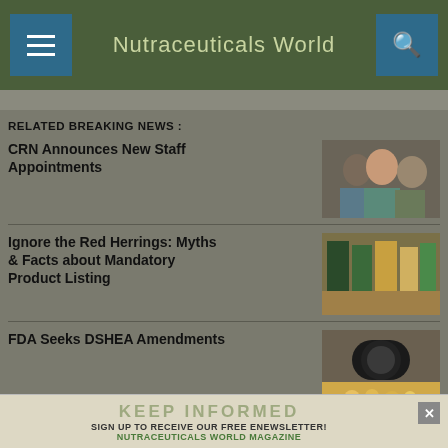Nutraceuticals World
RELATED BREAKING NEWS :
CRN Announces New Staff Appointments
[Figure (photo): Three people, professional headshots]
Ignore the Red Herrings: Myths & Facts about Mandatory Product Listing
[Figure (photo): Supplement bottles on shelf]
FDA Seeks DSHEA Amendments
[Figure (photo): Pill bottle with capsules spilled]
FDA Requests Mandatory Product
[Figure (photo): Partial image cut off at bottom]
KEEP INFORMED
SIGN UP TO RECEIVE OUR FREE ENEWSLETTER!
NUTRACEUTICALS WORLD MAGAZINE